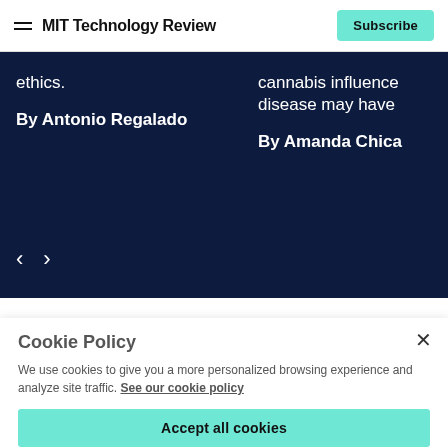MIT Technology Review | Subscribe
ethics.

By Antonio Regalado
cannabis influence disease may have

By Amanda Chica
Cookie Policy
We use cookies to give you a more personalized browsing experience and analyze site traffic. See our cookie policy
Accept all cookies
Cookies settings